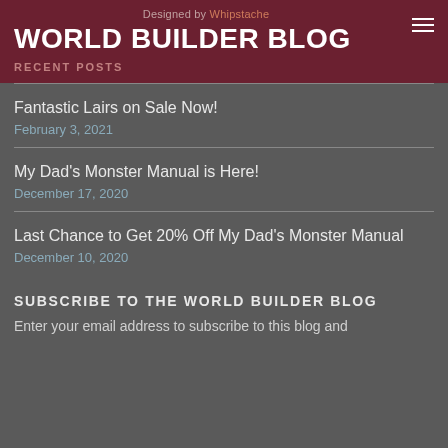Designed by Whipstache
WORLD BUILDER BLOG
RECENT POSTS
Fantastic Lairs on Sale Now!
February 3, 2021
My Dad's Monster Manual is Here!
December 17, 2020
Last Chance to Get 20% Off My Dad's Monster Manual
December 10, 2020
SUBSCRIBE TO THE WORLD BUILDER BLOG
Enter your email address to subscribe to this blog and